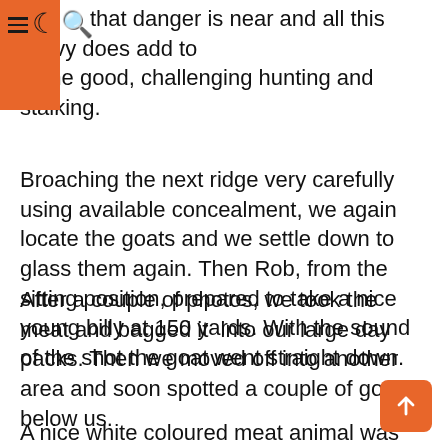that danger is near and all this savvy does add to some good, challenging hunting and stalking.
Broaching the next ridge very carefully using available concealment, we again locate the goats and we settle down to glass them again. Then Rob, from the sitting position, prepared to take a nice young billy at 150 yards. With the sound of the shot the goat went straight down.
After a couple of photos, we took the meat and bagged it  into our large day packs. Then we moved off into another area and soon spotted a couple of goats below us.
A nice white coloured meat animal was taken at